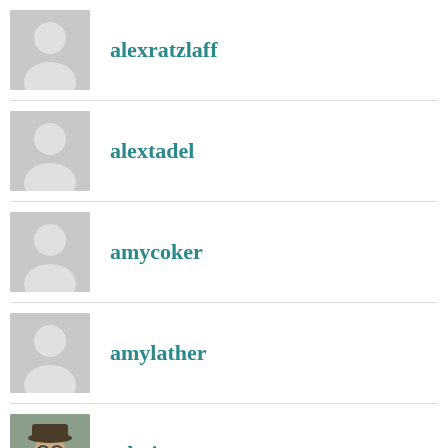alexratzlaff
alextadel
amycoker
amylather
admin
bc4503
beldonstevens